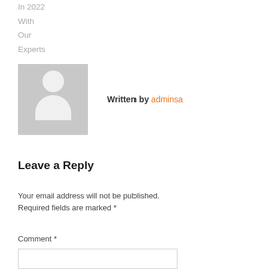In 2022
With
Our
Experts
[Figure (photo): Default avatar placeholder image showing a grey background with a white silhouette of a person (head and shoulders)]
Written by adminsa
Leave a Reply
Your email address will not be published. Required fields are marked *
Comment *